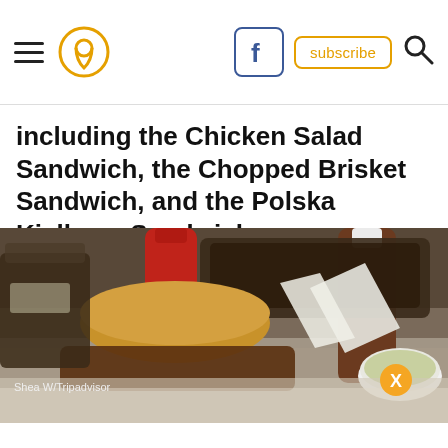Navigation bar with hamburger menu, location pin icon, Facebook button, subscribe button, search icon
including the Chicken Salad Sandwich, the Chopped Brisket Sandwich, and the Polska Kielbasa Sandwich.
[Figure (photo): Photo of BBQ food on a checkered tablecloth: a sandwich with pulled meat, squeeze bottles of condiments, a side dish, and a tray of ribs in the background. A faded advertisement is partially visible at the bottom.]
Shea W/Tripadvisor